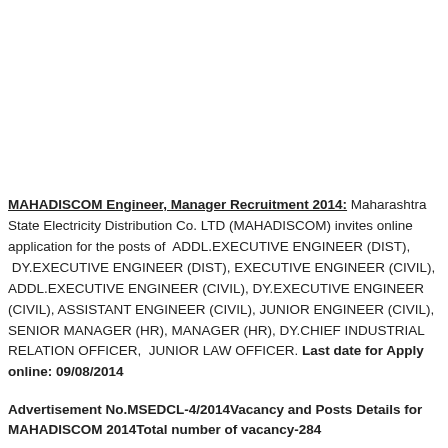MAHADISCOM Engineer, Manager Recruitment 2014: Maharashtra State Electricity Distribution Co. LTD (MAHADISCOM) invites online application for the posts of ADDL.EXECUTIVE ENGINEER (DIST), DY.EXECUTIVE ENGINEER (DIST), EXECUTIVE ENGINEER (CIVIL), ADDL.EXECUTIVE ENGINEER (CIVIL), DY.EXECUTIVE ENGINEER (CIVIL), ASSISTANT ENGINEER (CIVIL), JUNIOR ENGINEER (CIVIL), SENIOR MANAGER (HR), MANAGER (HR), DY.CHIEF INDUSTRIAL RELATION OFFICER, JUNIOR LAW OFFICER. Last date for Apply online: 09/08/2014
Advertisement No.MSEDCL-4/2014Vacancy and Posts Details for MAHADISCOM 2014Total number of vacancy-284